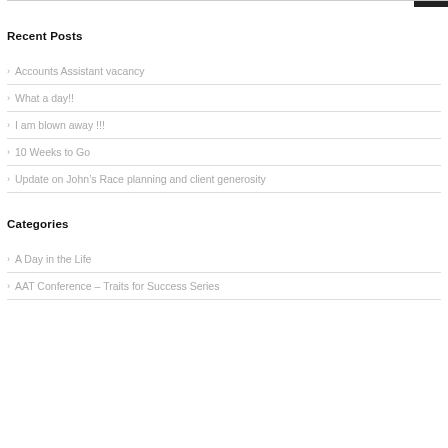Recent Posts
Accounts Assistant vacancy
What a day!!
I am blown away !!!
10 Weeks to Go
Update on John's Race planning and client generosity
Categories
A Day in the Life
AAT Conference – Traits for Success Series